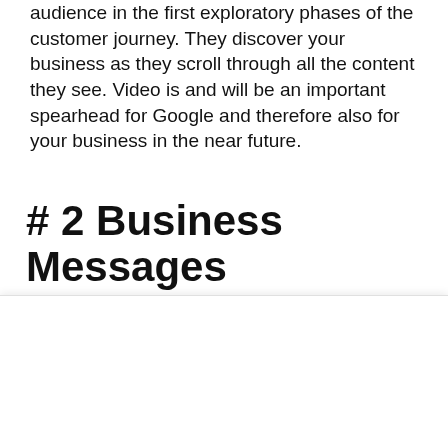audience in the first exploratory phases of the customer journey. They discover your business as they scroll through all the content they see. Video is and will be an important spearhead for Google and therefore also for your business in the near future.
# 2 Business Messages
We use cookies on our website to give you the most relevant experience by remembering your preferences and repeat visits. By clicking “Accept All”, you consent to the use of ALL the cookies. However, you may visit "Cookie Settings" to provide a controlled consent.